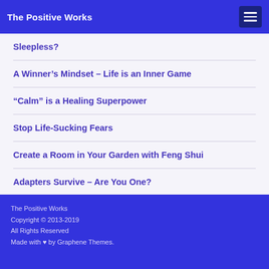The Positive Works
Sleepless?
A Winner’s Mindset – Life is an Inner Game
“Calm” is a Healing Superpower
Stop Life-Sucking Fears
Create a Room in Your Garden with Feng Shui
Adapters Survive – Are You One?
The Positive Works
Copyright © 2013-2019
All Rights Reserved
Made with ♥ by Graphene Themes.